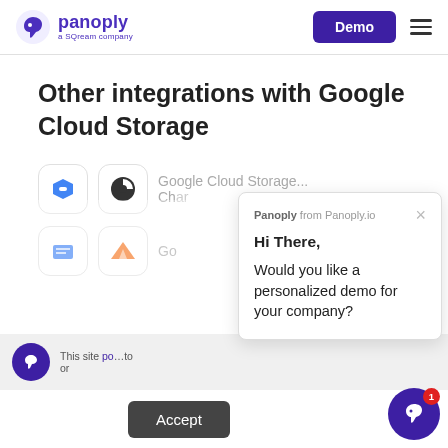[Figure (logo): Panoply logo - purple bird icon with 'panoply' text and 'a SQream company' subtitle]
[Figure (screenshot): Demo button and hamburger menu in header]
Other integrations with Google Cloud Storage
[Figure (screenshot): Integration list items showing Google Cloud Storage icons and text]
[Figure (screenshot): Chat popup from Panoply.io saying 'Hi There, Would you like a personalized demo for your company?' with close X button]
[Figure (screenshot): Cookie bar with Panoply circle icon and text about site usage, with Accept button]
[Figure (screenshot): Panoply chat FAB button with red badge showing 1]